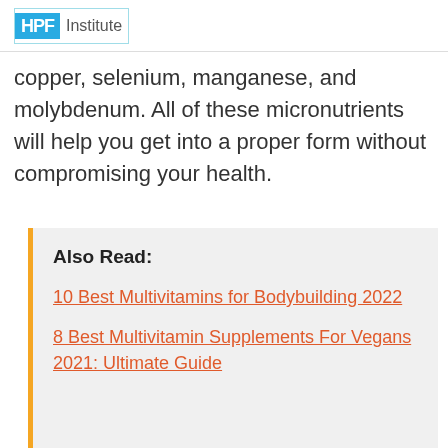HPF Institute
copper, selenium, manganese, and molybdenum. All of these micronutrients will help you get into a proper form without compromising your health.
Also Read:
10 Best Multivitamins for Bodybuilding 2022
8 Best Multivitamin Supplements For Vegans 2021: Ultimate Guide